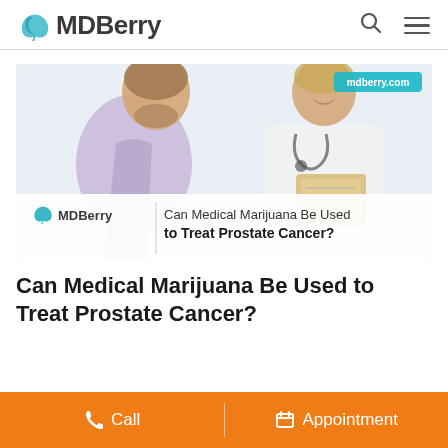MDBerry
[Figure (photo): Doctor in white coat with stethoscope holding clipboard, consulting with male patient. MDBerry logo and text 'Can Medical Marijuana Be Used to Treat Prostate Cancer?' overlaid on lower portion of image.]
Can Medical Marijuana Be Used to Treat Prostate Cancer?
Call   Appointment